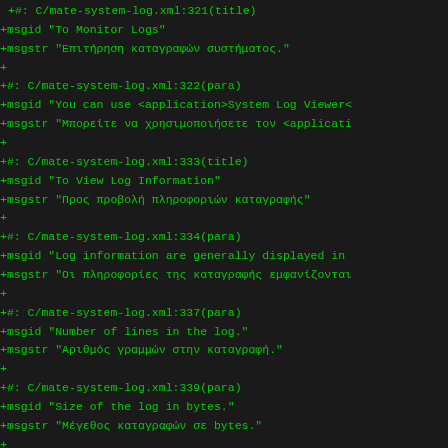+#: C/mate-system-log.xml:321(title)
+msgid "To Monitor Logs"
+msgstr "Επιτήρηση καταγραφών συστήματος."
+
+#: C/mate-system-log.xml:322(para)
+msgid "You can use <application>System Log Viewer<
+msgstr "Μπορείτε να χρησιμοποιήσετε τον <applicati
+
+#: C/mate-system-log.xml:333(title)
+msgid "To View Log Information"
+msgstr "Προς προβολή πληροφοριών καταγραφής"
+
+#: C/mate-system-log.xml:334(para)
+msgid "Log information are generally displayed in
+msgstr "Οι πληροφορίες της καταγραφής εμφανίζονται
+
+#: C/mate-system-log.xml:337(para)
+msgid "Number of lines in the log."
+msgstr "Αριθμός γραμμών στην καταγραφή."
+
+#: C/mate-system-log.xml:339(para)
+msgid "Size of the log in bytes."
+msgstr "Μέγεθος καταγραφών σε bytes."
+
+#: C/mate-system-log.xml:341(para)
+msgid "Date the log was last modified."
+msgstr "Ημερομηνία τελευταίας καταγραφής."
+
+#: C/mate-system-log.xml:344(para)
+msgid "The status bar can be displayed or hidden u
+msgstr "Η Γραμμή κατάστασης μπορεί να είναι εμφαν